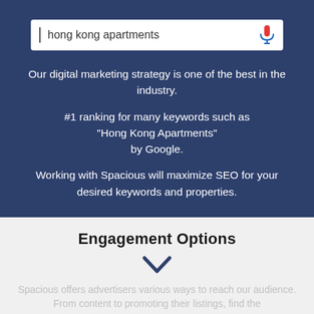[Figure (screenshot): Google search bar with text 'hong kong apartments' and a microphone icon on the right side]
Our digital marketing strategy is one of the best in the industry.

#1 ranking for many keywords such as "Hong Kong Apartments" by Google.

Working with Spacious will maximize SEO for your desired keywords and properties.
Engagement Options
Spacious offers advertisers various ways to reach our audience. From content to promoting their listings, find the